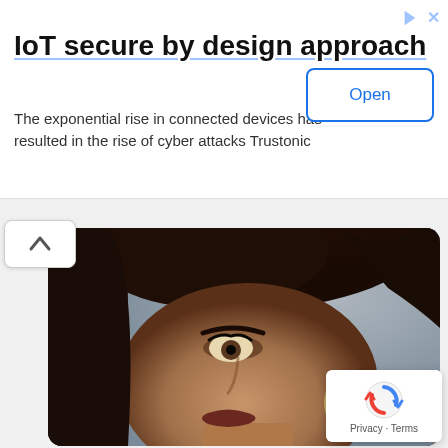IoT secure by design approach
The exponential rise in connected devices has resulted in the rise of cyber attacks Trustonic
[Figure (photo): Close-up portrait of a young woman with dark hair pulled up, wearing a jeweled earring, looking directly at the camera with a neutral/serious expression. Photo is cropped to show only the face and upper neck area.]